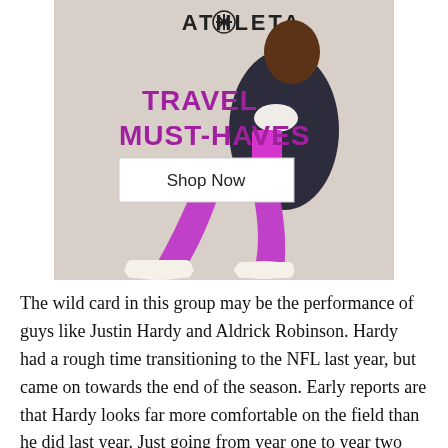[Figure (advertisement): Athleta brand advertisement showing a Black woman in bright purple/magenta leggings, white sports bra, and dark blazer, seated on the floor with white sneakers. Text reads 'TRAVEL MUST-HAVES' in purple and a 'Shop Now' button. Athleta logo at top.]
The wild card in this group may be the performance of guys like Justin Hardy and Aldrick Robinson. Hardy had a rough time transitioning to the NFL last year, but came on towards the end of the season. Early reports are that Hardy looks far more comfortable on the field than he did last year. Just going from year one to year two should yield big strides for the young receiver.